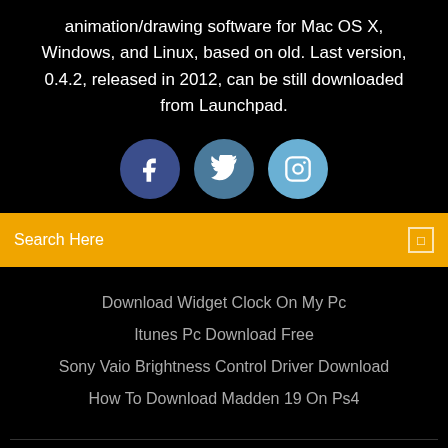animation/drawing software for Mac OS X, Windows, and Linux, based on old. Last version, 0.4.2, released in 2012, can be still downloaded from Launchpad.
[Figure (infographic): Three social media icon circles: Facebook (dark blue), Twitter (medium blue), Instagram (light blue)]
Search Here
Download Widget Clock On My Pc
Itunes Pc Download Free
Sony Vaio Brightness Control Driver Download
How To Download Madden 19 On Ps4
Copyright ©2022 All rights reserved | This template is made with ♡ by Colorlib